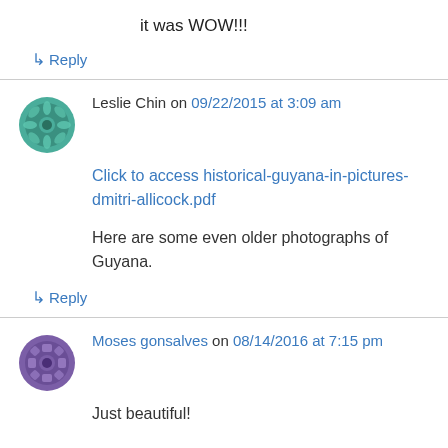it was WOW!!!
↳ Reply
Leslie Chin on 09/22/2015 at 3:09 am
Click to access historical-guyana-in-pictures-dmitri-allicock.pdf
Here are some even older photographs of Guyana.
↳ Reply
Moses gonsalves on 08/14/2016 at 7:15 pm
Just beautiful!